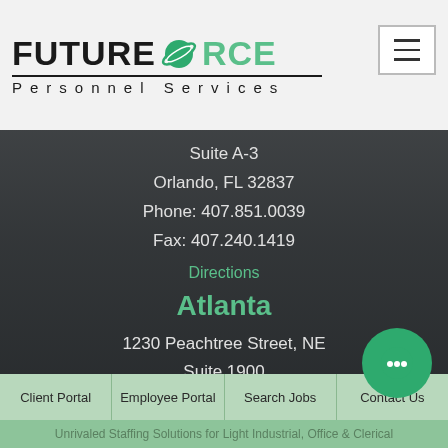Future Force Personnel Services
Suite A-3
Orlando, FL 32837
Phone: 407.851.0039
Fax: 407.240.1419
Directions
Atlanta
1230 Peachtree Street, NE
Suite 1900
Atlanta, GA 30309
Phone: 404.817.7714
Directions
Client Portal  Employee Portal  Search Jobs  Contact Us
Unrivaled Staffing Solutions for Light Industrial, Office & Clerical